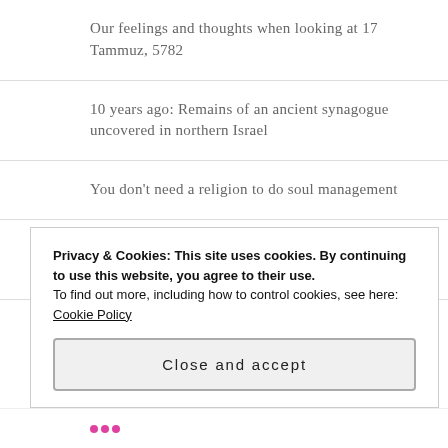Our feelings and thoughts when looking at 17 Tammuz, 5782
10 years ago: Remains of an ancient synagogue uncovered in northern Israel
You don't need a religion to do soul management
More than seven anti-Semitic incidents in the U.S.A. per day
British four-part television which chronicles British Jews who went undercover with Neo-Nazis now also on
Privacy & Cookies: This site uses cookies. By continuing to use this website, you agree to their use.
To find out more, including how to control cookies, see here: Cookie Policy
Close and accept